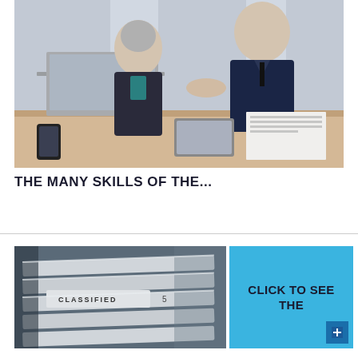[Figure (photo): Two business professionals, a woman with short gray hair and a man in a dark suit, looking at a laptop computer together on a desk with papers and a tablet.]
THE MANY SKILLS OF THE...
[Figure (photo): Close-up of filing cabinet tabs labeled 'CLASSIFIED' with numbered dividers.]
CLICK TO SEE THE